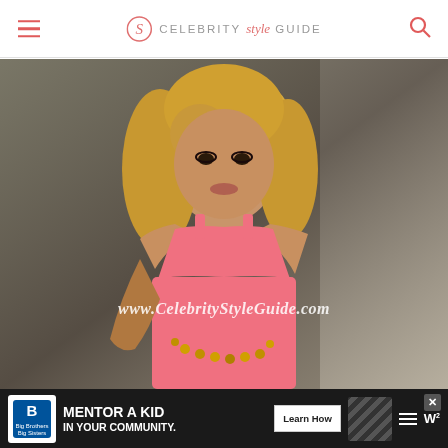Celebrity Style Guide
[Figure (photo): Blonde woman wearing a pink sequined sleeveless dress, with watermark text 'www.CelebrityStyleGuide.com' overlaid in white italic text]
[Figure (infographic): Advertisement banner: Big Brothers Big Sisters logo, text 'MENTOR A KID IN YOUR COMMUNITY.' with 'Learn How' call-to-action button]